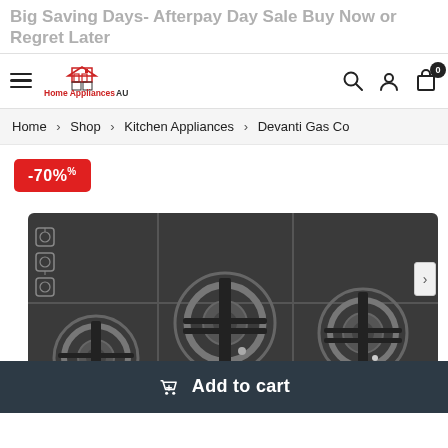Big Saving Days- Afterpay Day Sale Buy Now or Regret Later
[Figure (logo): Home Appliances AU logo with house/appliance icon and navigation bar with hamburger menu, search, account, and cart icons showing 0 items]
Home > Shop > Kitchen Appliances > Devanti Gas Co
[Figure (photo): Product image of a Devanti gas cooktop with 3 burners on a black glass surface, shown with a -70% discount badge in red and a right arrow navigation button]